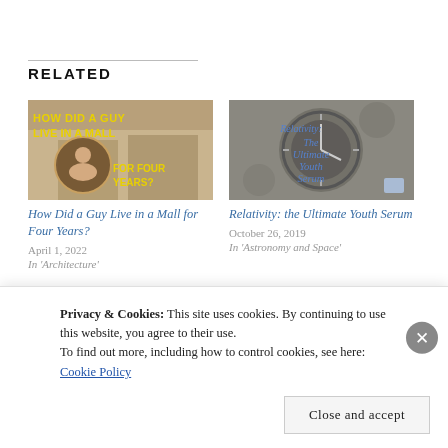RELATED
[Figure (photo): Thumbnail image with yellow text overlay reading 'HOW DID A GUY LIVE IN A MALL FOR FOUR YEARS?' with mall interior background]
How Did a Guy Live in a Mall for Four Years?
April 1, 2022
In 'Architecture'
[Figure (photo): Thumbnail image of clock gears with blue text overlay reading 'Relativity: The Ultimate Youth Serum']
Relativity: the Ultimate Youth Serum
October 26, 2019
In 'Astronomy and Space'
[Figure (photo): Partial thumbnail of a third article, colorful background]
Privacy & Cookies: This site uses cookies. By continuing to use this website, you agree to their use.
To find out more, including how to control cookies, see here: Cookie Policy
Close and accept